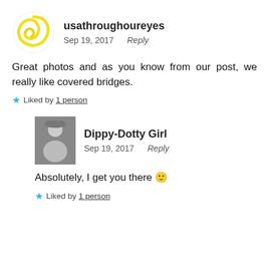[Figure (logo): Yellow spiral swirl logo avatar for usathroughoureyes]
usathroughoureyes
Sep 19, 2017   Reply
Great photos and as you know from our post, we really like covered bridges.
★ Liked by 1 person
[Figure (photo): Black and white photo of a girl, avatar for Dippy-Dotty Girl]
Dippy-Dotty Girl
Sep 19, 2017   Reply
Absolutely, I get you there 🙂
★ Liked by 1 person